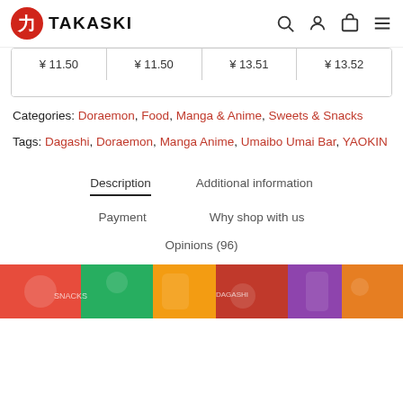TAKASKI
¥ 11.50   ¥ 11.50   ¥ 13.51   ¥ 13.52
Categories: Doraemon, Food, Manga & Anime, Sweets & Snacks
Tags: Dagashi, Doraemon, Manga Anime, Umaibo Umai Bar, YAOKIN
Description
Additional information
Payment
Why shop with us
Opinions (96)
[Figure (photo): Colorful Japanese snacks and candies product image]